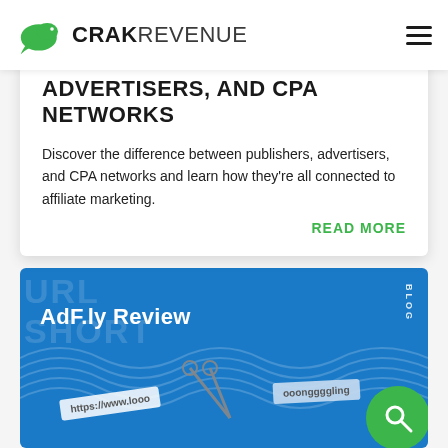CRAKREVENUE
ADVERTISERS, AND CPA NETWORKS
Discover the difference between publishers, advertisers, and CPA networks and learn how they're all connected to affiliate marketing.
READ MORE
[Figure (illustration): AdF.ly Review banner with blue background, large faded URL and SHORT text, two URL snippet labels, scissors graphic, and green search icon circle. BLOG label in vertical text on right side.]